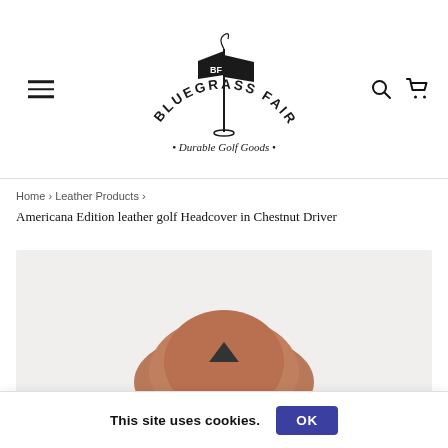[Figure (logo): Bluegrass Fairway logo — arched text 'BLUEGRASS FAIRWAY' over a golf flag with 'BF' pennant on a pole, subtitle '• Durable Golf Goods •' in script]
Home › Leather Products › Americana Edition leather golf Headcover in Chestnut Driver
[Figure (photo): Partial view of a chestnut leather golf driver headcover with a dark embroidered logo, photographed against a light grey background]
This site uses cookies.  OK